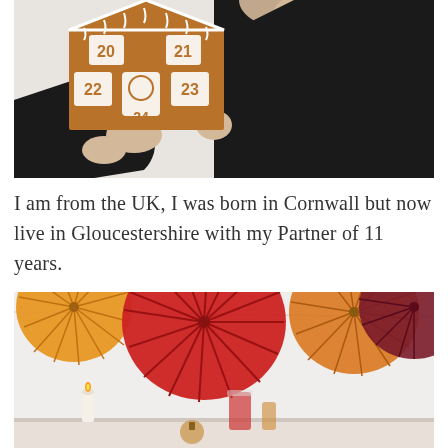[Figure (photo): Woman in black top holding a gingerbread house advent calendar with numbered windows (20-25), shelves with Christmas decorations in background]
I am from the UK, I was born in Cornwall but now live in Gloucestershire with my Partner of 11 years.
[Figure (photo): Colorful paper fan decorations in red, orange, and burgundy hanging from the ceiling, with candles and drinks on a table below]